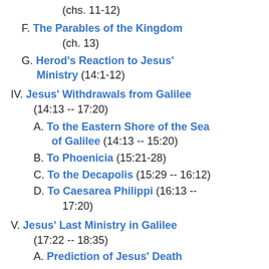(chs. 11-12)
F. The Parables of the Kingdom (ch. 13)
G. Herod's Reaction to Jesus' Ministry (14:1-12)
IV. Jesus' Withdrawals from Galilee (14:13 -- 17:20)
A. To the Eastern Shore of the Sea of Galilee (14:13 -- 15:20)
B. To Phoenicia (15:21-28)
C. To the Decapolis (15:29 -- 16:12)
D. To Caesarea Philippi (16:13 -- 17:20)
V. Jesus' Last Ministry in Galilee (17:22 -- 18:35)
A. Prediction of Jesus' Death